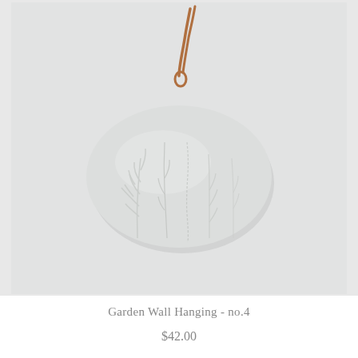[Figure (photo): A white/light grey oval ceramic wall hanging with embossed botanical plant impressions (branches and stems), suspended by a brown/copper leather cord tied through a hole at the top. The background is a light grey-white.]
Garden Wall Hanging - no.4
$42.00